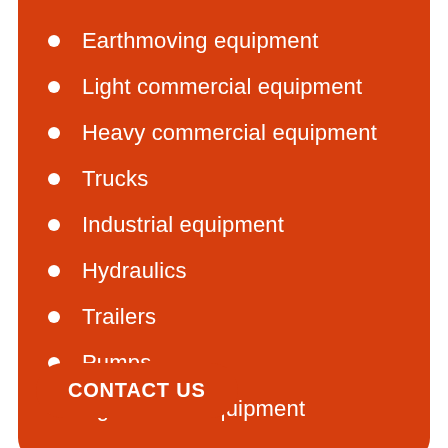Earthmoving equipment
Light commercial equipment
Heavy commercial equipment
Trucks
Industrial equipment
Hydraulics
Trailers
Pumps
Agricultural equipment
CONTACT US